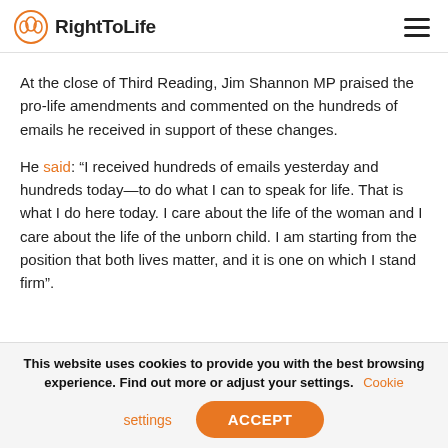RightToLife
At the close of Third Reading, Jim Shannon MP praised the pro-life amendments and commented on the hundreds of emails he received in support of these changes.
He said: “I received hundreds of emails yesterday and hundreds today—to do what I can to speak for life. That is what I do here today. I care about the life of the woman and I care about the life of the unborn child. I am starting from the position that both lives matter, and it is one on which I stand firm”.
This website uses cookies to provide you with the best browsing experience. Find out more or adjust your settings. Cookie settings ACCEPT